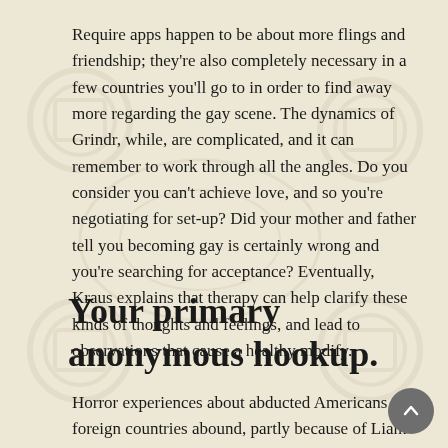Require apps happen to be about more flings and friendship; they're also completely necessary in a few countries you'll go to in order to find away more regarding the gay scene. The dynamics of Grindr, while, are complicated, and it can remember to work through all the angles. Do you consider you can't achieve love, and so you're negotiating for set-up? Did your mother and father tell you becoming gay is certainly wrong and you're searching for acceptance? Eventually, Kraus explains that therapy can help clarify these kinds of thoughts and feelings, and lead to observations that cause a healthy modify.
Your primary anonymous hookup.
Horror experiences about abducted Americans in foreign countries abound, partly because of Liam Neeson videos and...